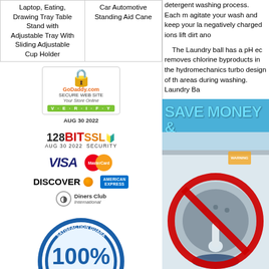|  |  |
| --- | --- |
| Laptop, Eating, Drawing Tray Table Stand with Adjustable Tray With Sliding Adjustable Cup Holder | Car Automotive Standing Aid Cane |
detergent washing process. Each m agitate your wash and keep your la negatively charged ions lift dirt ano
The Laundry ball has a pH ec removes chlorine byproducts in the hydromechanics turbo design of th areas during washing. Laundry Ba
[Figure (logo): GoDaddy.com Secure Web Site verification badge, AUG 30 2022]
[Figure (logo): 128BIT SSL Security badge, AUG 30 2022]
[Figure (logo): Payment card logos: VISA, MasterCard, DISCOVER, American Express, Diners Club International]
[Figure (logo): 100% Satisfaction Guarantee circular badge]
[Figure (photo): SAVE MONEY & banner image with washing machine and red no-detergent symbol (circle with diagonal line)]